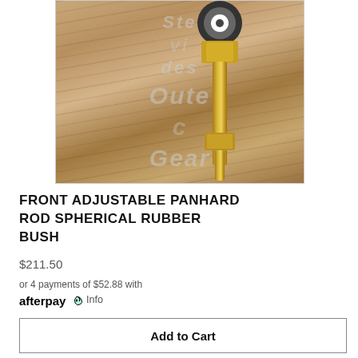[Figure (photo): A gold/yellow zinc-plated adjustable panhard rod with spherical rubber bush end and locking nut, photographed against a weathered wooden plank background. A watermark reading 'Stevides Outec Gear' is overlaid on the image.]
FRONT ADJUSTABLE PANHARD ROD SPHERICAL RUBBER BUSH
$211.50
or 4 payments of $52.88 with afterpay Info
Add to Cart